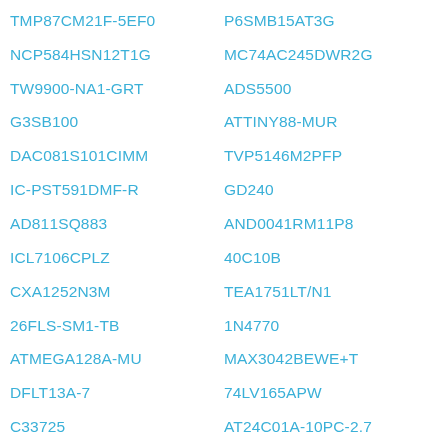TMP87CM21F-5EF0
P6SMB15AT3G
NCP584HSN12T1G
MC74AC245DWR2G
TW9900-NA1-GRT
ADS5500
G3SB100
ATTINY88-MUR
DAC081S101CIMM
TVP5146M2PFP
IC-PST591DMF-R
GD240
AD811SQ883
AND0041RM11P8
ICL7106CPLZ
40C10B
CXA1252N3M
TEA1751LT/N1
26FLS-SM1-TB
1N4770
ATMEGA128A-MU
MAX3042BEWE+T
DFLT13A-7
74LV165APW
C33725
AT24C01A-10PC-2.7